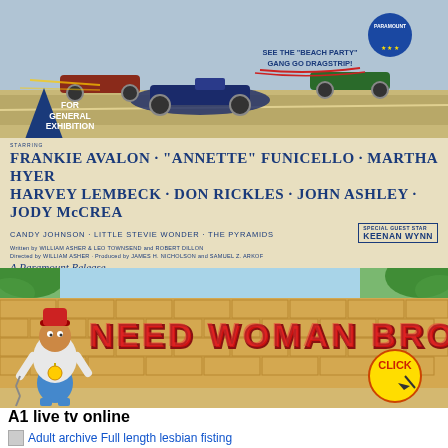[Figure (illustration): Movie poster for a drag strip film. Top section shows illustrated vintage racing cars on track with a Paramount logo. A blue triangle badge reads FOR GENERAL EXHIBITION. Text reads SEE THE BEACH PARTY GANG GO DRAGSTRIP!]
STARRING
FRANKIE AVALON · "ANNETTE" FUNICELLO · MARTHA HYER
HARVEY LEMBECK · DON RICKLES · JOHN ASHLEY · JODY McCREA
CANDY JOHNSON · LITTLE STEVIE WONDER · THE PYRAMIDS   SPECIAL GUEST STAR KEENAN WYNN
Written by WILLIAM ASHER & LEO TOWNSEND and ROBERT DILLON
Directed by WILLIAM ASHER · Produced by JAMES H. NICHOLSON and SAMUEL Z. ARKOF
A Paramount Release
[Figure (illustration): Cartoon banner image with brick wall background. A cartoon character in hip-hop style clothing stands on the left. Graffiti-style red text reads NEED WOMAN BRO. A yellow starburst badge with cursor reads CLICK.]
A1 live tv online
Adult archive Full length lesbian fisting